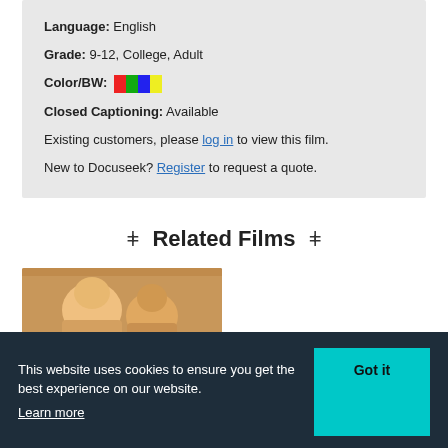Language: English
Grade: 9-12, College, Adult
Color/BW: [color blocks]
Closed Captioning: Available
Existing customers, please log in to view this film.
New to Docuseek? Register to request a quote.
Related Films
[Figure (photo): Thumbnail photo of children, used as a related film preview image]
This website uses cookies to ensure you get the best experience on our website. Learn more
Got it